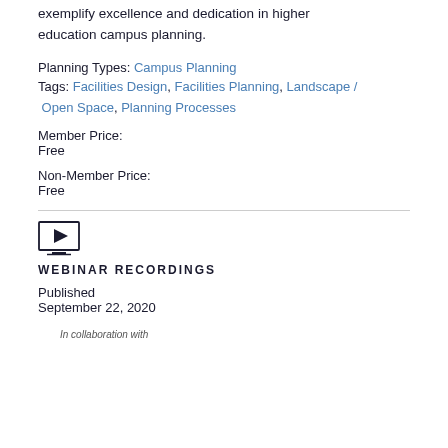exemplify excellence and dedication in higher education campus planning.
Planning Types: Campus Planning
Tags: Facilities Design, Facilities Planning, Landscape / Open Space, Planning Processes
Member Price:
Free
Non-Member Price:
Free
[Figure (illustration): Video/webinar recording icon: a monitor/screen with a play button triangle]
WEBINAR RECORDINGS
Published
September 22, 2020
In collaboration with